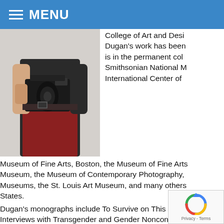MENU
[Figure (photo): Person holding a camera, wearing red/maroon pants and dark top]
College of Art and Design. Dugan's work has been is in the permanent col Smithsonian National International Center of Museum of Fine Arts, Boston, the Museum of Fine Arts Museum, the Museum of Contemporary Photography, Museums, the St. Louis Art Museum, and many others States.
Dugan's monographs include To Survive on This Shore Interviews with Transgender and Gender Nonconforming (Kehrer Verlag, 2018) and Every Breath We Drew (Dayli is the recipient of a Pollock-Krasner Foundation Grant, and was selected by the Obama White House Change. She is represented by the Catherine B
www.jessdugan.com